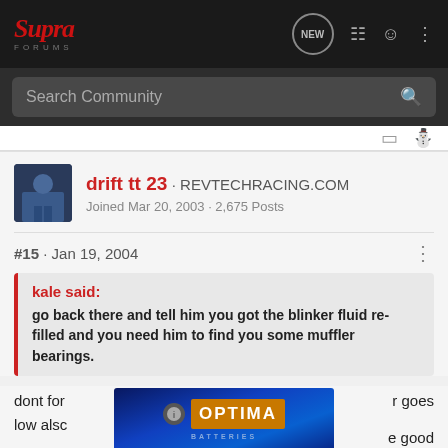Supra Forums · NEW · Search Community
drift tt 23 · REVTECHRACING.COM
Joined Mar 20, 2003 · 2,675 Posts
#15 · Jan 19, 2004
kale said:
go back there and tell him you got the blinker fluid re-filled and you need him to find you some muffler bearings.
dont for ... r goes
low alsc ... e good